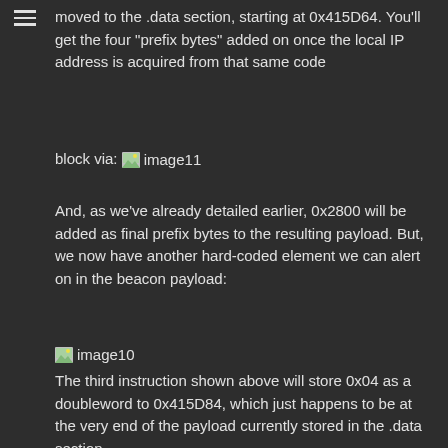moved to the .data section, starting at 0x415D64. You'll get the four "prefix bytes" added on once the local IP address is acquired from that same code
block via: [image11]
And, as we've already detailed earlier, 0x2800 will be added as final prefix bytes to the resulting payload. But, we now have another hard-coded element we can alert on in the beacon payload:
[Figure (screenshot): image10 - screenshot of assembly or hex code showing instruction]
The third instruction shown above will store 0x04 as a doubleword to 0x415D84, which just happens to be at the very end of the payload currently stored in the .data section.